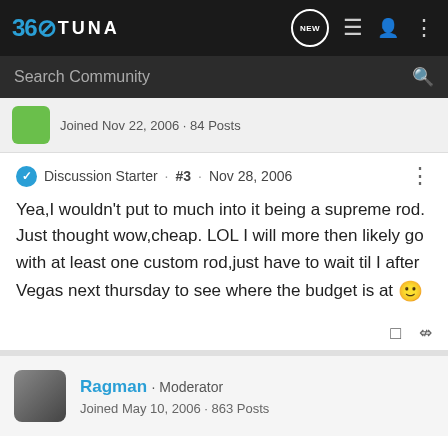[Figure (screenshot): 360Tuna forum website navigation bar with logo, NEW badge, list icon, user icon, and more options icon]
Search Community
Joined Nov 22, 2006 · 84 Posts
Discussion Starter · #3 · Nov 28, 2006
Yea,I wouldn't put to much into it being a supreme rod. Just thought wow,cheap. LOL I will more then likely go with at least one custom rod,just have to wait til I after Vegas next thursday to see where the budget is at 🙂
Ragman · Moderator
Joined May 10, 2006 · 863 Posts